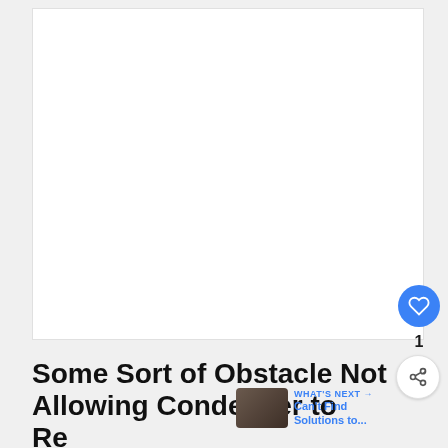[Figure (other): Large white rectangular image/ad placeholder area with light gray background]
[Figure (other): Blue circular like/heart button with heart icon]
1
[Figure (other): White circular share button with share icon]
Some Sort of Obstacle Not Allowing Condenser to Release Heat
[Figure (other): What's Next thumbnail showing a dark truck/vehicle image with label WHAT'S NEXT and text Can't Find Solutions to...]